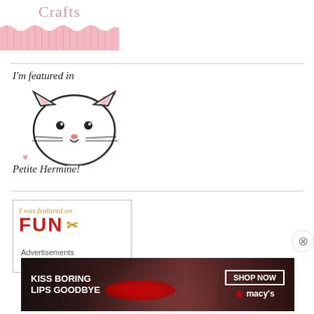[Figure (logo): Crafts logo with pink banner at top left]
[Figure (illustration): I'm featured in Petite Hermine badge with cute cat face illustration, pink hearts, text 'I'm featured in' above and 'Petite Hermine!' below]
[Figure (illustration): I was featured on FUN badge with orange cursive text 'I was featured on' and bold red 'FUN' with scissors icon]
Advertisements
[Figure (photo): Macy's advertisement: KISS BORING LIPS GOODBYE with SHOP NOW button and Macy's star logo, woman with red lips]